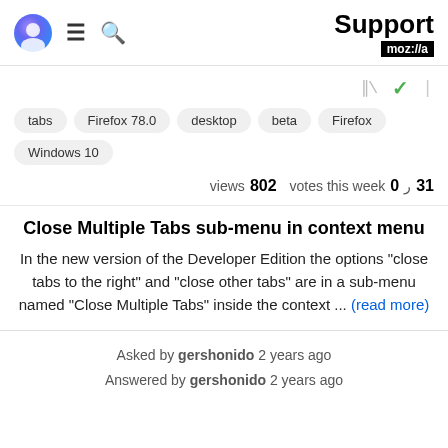Support moz://a
[Figure (other): Icons row with bar chart icon and checkmark icon]
tabs   Firefox 78.0   desktop   beta   Firefox   Windows 10
views 802   votes this week 0   31
Close Multiple Tabs sub-menu in context menu
In the new version of the Developer Edition the options "close tabs to the right" and "close other tabs" are in a sub-menu named "Close Multiple Tabs" inside the context ... (read more)
Asked by gershonido 2 years ago
Answered by gershonido 2 years ago